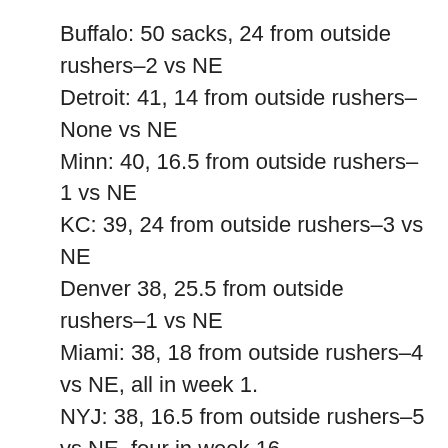Buffalo: 50 sacks, 24 from outside rushers–2 vs NE
Detroit: 41, 14 from outside rushers–None vs NE
Minn: 40, 16.5 from outside rushers–1 vs NE
KC: 39, 24 from outside rushers–3 vs NE
Denver 38, 25.5 from outside rushers–1 vs NE
Miami: 38, 18 from outside rushers–4 vs NE, all in week 1.
NYJ: 38, 16.5 from outside rushers–5 vs NE, four in week 16.